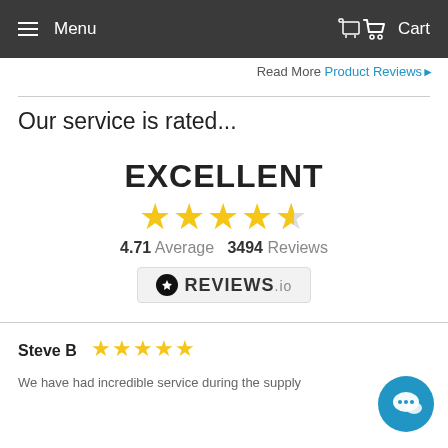Menu   Cart
Read More Product Reviews ▶
Our service is rated...
[Figure (infographic): Rating widget showing EXCELLENT, 4.71 average out of 5 stars, 3494 reviews, powered by REVIEWS.io]
Steve B ★★★★★
We have had incredible service during the supply